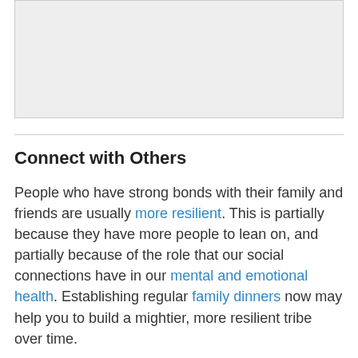[Figure (other): Gray placeholder image area at the top of the page]
Connect with Others
People who have strong bonds with their family and friends are usually more resilient. This is partially because they have more people to lean on, and partially because of the role that our social connections have in our mental and emotional health. Establishing regular family dinners now may help you to build a mightier, more resilient tribe over time.